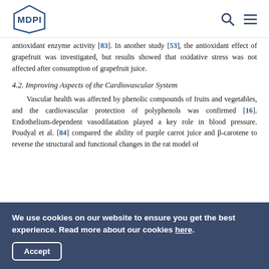MDPI
antioxidant enzyme activity [83]. In another study [53], the antioxidant effect of grapefruit was investigated, but results showed that oxidative stress was not affected after consumption of grapefruit juice.
4.2. Improving Aspects of the Cardiovascular System
Vascular health was affected by phenolic compounds of fruits and vegetables, and the cardiovascular protection of polyphenols was confirmed [16]. Endothelium-dependent vasodilatation played a key role in blood pressure. Poudyal et al. [84] compared the ability of purple carrot juice and β-carotene to reverse the structural and functional changes in the rat model of
We use cookies on our website to ensure you get the best experience. Read more about our cookies here.
Accept